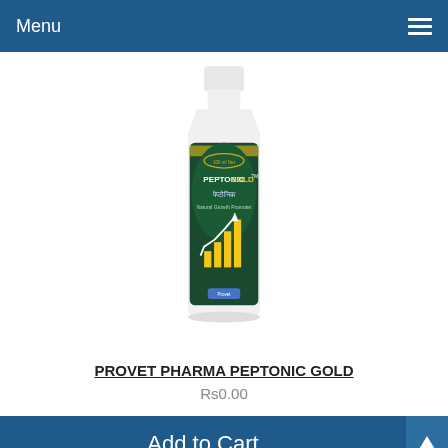Menu
[Figure (photo): Provet Pharma Peptonic Gold product bottle with dark green label showing bar chart growth graphic and text 'PEPTONIC GOLD', 'पेप्टोनिक', 'Natural Growth Promoter']
PROVET PHARMA PEPTONIC GOLD
Rs0.00
Add to Cart
[Figure (photo): Second product bottle, partially visible at bottom of page, white cap visible]